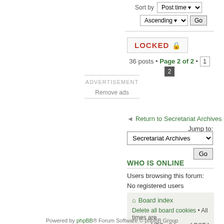Sort by  Post time ▼
Ascending ▼  Go
LOCKED 🔒
36 posts • Page 2 of 2 • 1 2
ADVERTISEMENT
Remove ads
Return to Secretariat Archives
Jump to:
Secretariat Archives
Go
WHO IS ONLINE
Users browsing this forum: No registered users
Board index
Delete all board cookies • All times are UTC - 8 hours [ DST ]
Powered by phpBB® Forum Software © phpBB Group